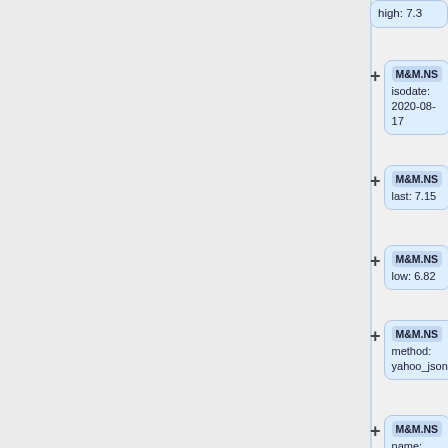high: 7.3 (partial, top)
M&M.NS isodate: 2020-08-17
M&M.NS last: 7.15
M&M.NS low: 6.82
M&M.NS method: yahoo_json
M&M.NS name: M&M.NS (Macy's Inc)
M&M.NS open: 7.21
Use of uninitialized (partial, bottom)